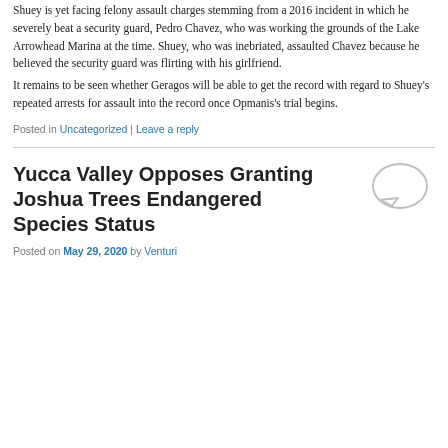Shuey is yet facing felony assault charges stemming from a 2016 incident in which he severely beat a security guard, Pedro Chavez, who was working the grounds of the Lake Arrowhead Marina at the time. Shuey, who was inebriated, assaulted Chavez because he believed the security guard was flirting with his girlfriend. It remains to be seen whether Geragos will be able to get the record with regard to Shuey's repeated arrests for assault into the record once Opmanis's trial begins.
Posted in Uncategorized | Leave a reply
Yucca Valley Opposes Granting Joshua Trees Endangered Species Status
Posted on May 29, 2020 by Venturi